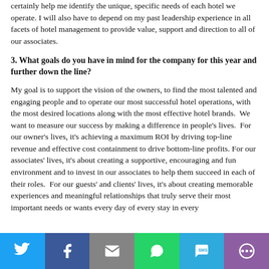certainly help me identify the unique, specific needs of each hotel we operate. I will also have to depend on my past leadership experience in all facets of hotel management to provide value, support and direction to all of our associates.
3. What goals do you have in mind for the company for this year and further down the line?
My goal is to support the vision of the owners, to find the most talented and engaging people and to operate our most successful hotel operations, with the most desired locations along with the most effective hotel brands.  We want to measure our success by making a difference in people's lives.  For our owner's lives, it's achieving a maximum ROI by driving top-line revenue and effective cost containment to drive bottom-line profits. For our associates' lives, it's about creating a supportive, encouraging and fun environment and to invest in our associates to help them succeed in each of their roles.  For our guests' and clients' lives, it's about creating memorable experiences and meaningful relationships that truly serve their most important needs or wants every day of every stay in every
[Figure (infographic): Social sharing bar with six buttons: Twitter (blue), Facebook (dark blue), Email (gray), WhatsApp (green), SMS (light blue), More (purple)]